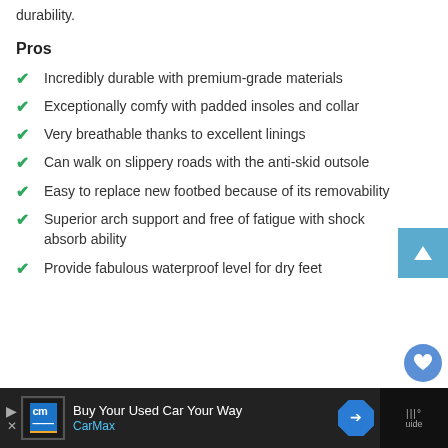durability.
Pros
Incredibly durable with premium-grade materials
Exceptionally comfy with padded insoles and collar
Very breathable thanks to excellent linings
Can walk on slippery roads with the anti-skid outsole
Easy to replace new footbed because of its removability
Superior arch support and free of fatigue with shock absorb ability
Provide fabulous waterproof level for dry feet
Buy Your Used Car Your Way | CarMax